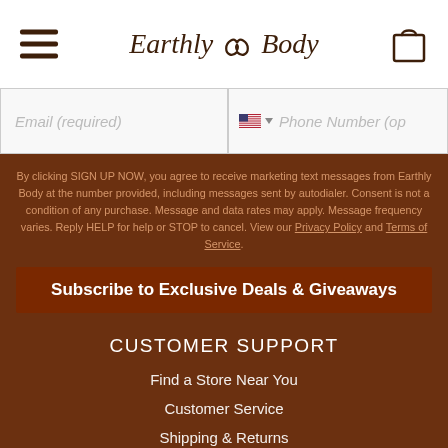Earthly Body
Email (required)   Phone Number (op
By clicking SIGN UP NOW, you agree to receive marketing text messages from Earthly Body at the number provided, including messages sent by autodialer. Consent is not a condition of any purchase. Message and data rates may apply. Message frequency varies. Reply HELP for help or STOP to cancel. View our Privacy Policy and Terms of Service.
Subscribe to Exclusive Deals & Giveaways
CUSTOMER SUPPORT
Find a Store Near You
Customer Service
Shipping & Returns
Privacy Policy